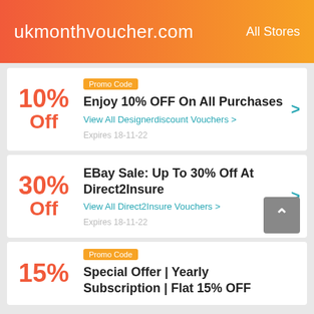ukmonthvoucher.com   All Stores
Promo Code
Enjoy 10% OFF On All Purchases
View All Designerdiscount Vouchers >
Expires 18-11-22
EBay Sale: Up To 30% Off At Direct2Insure
View All Direct2Insure Vouchers >
Expires 18-11-22
Promo Code
Special Offer | Yearly Subscription | Flat 15% OFF